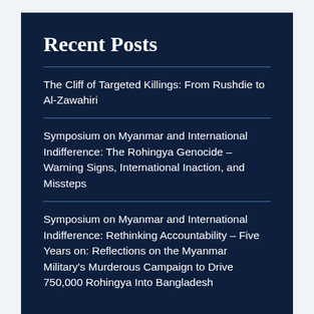Recent Posts
The Cliff of Targeted Killings: From Rushdie to Al-Zawahiri
Symposium on Myanmar and International Indifference: The Rohingya Genocide – Warning Signs, International Inaction, and Missteps
Symposium on Myanmar and International Indifference: Rethinking Accountability – Five Years on: Reflections on the Myanmar Military's Murderous Campaign to Drive 750,000 Rohingya Into Bangladesh